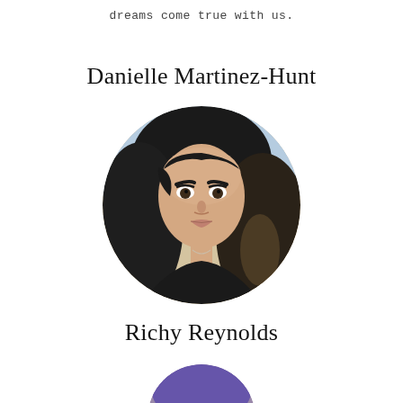dreams come true with us.
Danielle Martinez-Hunt
[Figure (photo): Circular profile photo of Danielle Martinez-Hunt, a young woman with dark wavy hair, wearing a black top with a thin necklace, photographed outdoors.]
Richy Reynolds
[Figure (photo): Partial circular profile photo of Richy Reynolds, partially visible at the bottom of the page.]